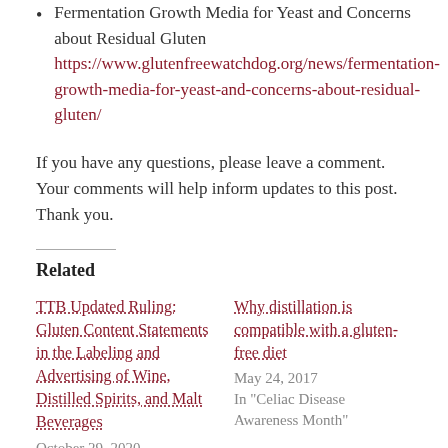Fermentation Growth Media for Yeast and Concerns about Residual Gluten https://www.glutenfreewatchdog.org/news/fermentation-growth-media-for-yeast-and-concerns-about-residual-gluten/
If you have any questions, please leave a comment. Your comments will help inform updates to this post. Thank you.
Related
TTB Updated Ruling: Gluten Content Statements in the Labeling and Advertising of Wine, Distilled Spirits, and Malt Beverages
October 29, 2020
In "Gluten-Free Beer"
Why distillation is compatible with a gluten-free diet
May 24, 2017
In "Celiac Disease Awareness Month"
FDA Publishes Final Rule on Gluten-Free Labeling of